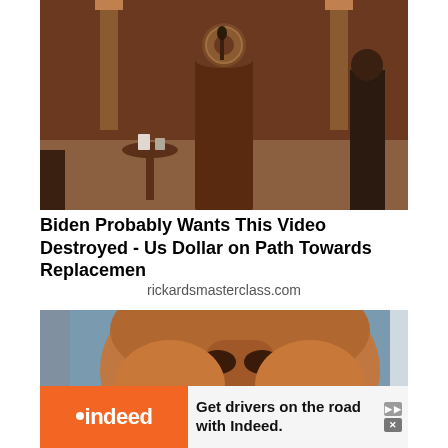[Figure (photo): A presidential podium scene with the presidential seal, flags, and a small round table with items on it. Sepia/brown toned photograph.]
Biden Probably Wants This Video Destroyed - Us Dollar on Path Towards Replacemen
rickardsmasterclass.com
[Figure (photo): A close-up stylized/illustrated image of a person with a wide smile showing teeth, with a blue background element.]
[Figure (infographic): Indeed advertisement banner: orange section with Indeed logo on left, text 'Get drivers on the road with Indeed.' on right with ad icons.]